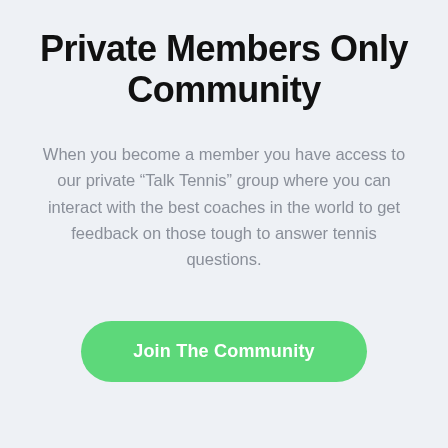Private Members Only Community
When you become a member you have access to our private “Talk Tennis” group where you can interact with the best coaches in the world to get feedback on those tough to answer tennis questions.
Join The Community